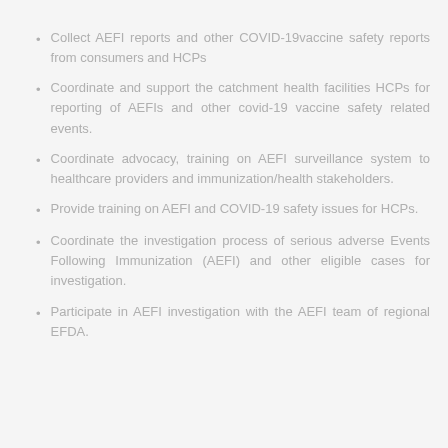Collect AEFI reports and other COVID-19vaccine safety reports from consumers and HCPs
Coordinate and support the catchment health facilities HCPs for reporting of AEFIs and other covid-19 vaccine safety related events.
Coordinate advocacy, training on AEFI surveillance system to healthcare providers and immunization/health stakeholders.
Provide training on AEFI and COVID-19 safety issues for HCPs.
Coordinate the investigation process of serious adverse Events Following Immunization (AEFI) and other eligible cases for investigation.
Participate in AEFI investigation with the AEFI team of regional EFDA.